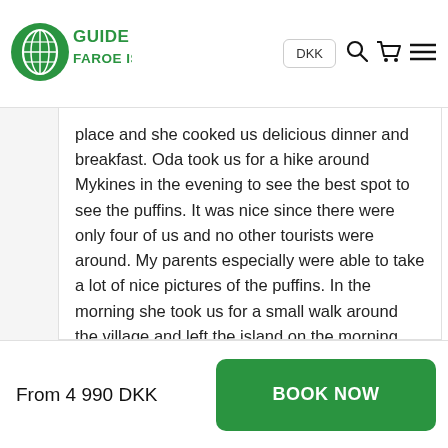GUIDE TO FAROE ISLANDS | DKK
place and she cooked us delicious dinner and breakfast. Oda took us for a hike around Mykines in the evening to see the best spot to see the puffins. It was nice since there were only four of us and no other tourists were around. My parents especially were able to take a lot of nice pictures of the puffins. In the morning she took us for a small walk around the village and left the island on the morning ferry. We highly recommend this trip. Oda is a very experienced guide and will do whatever it takes to make your trip memorable.
From 4 990 DKK | BOOK NOW